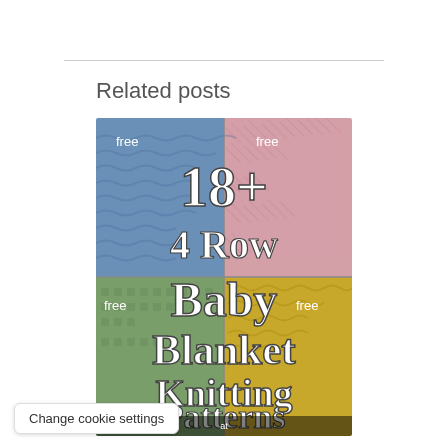Related posts
[Figure (photo): Collage of knitting pattern images showing baby blankets in blue, pink, green, and yellow colors with text overlay: '18+ 4 Row Baby Blanket Knitting Patterns at theloopknitting.com'. Each quadrant shows a different knitted blanket and is labeled 'free'.]
Change cookie settings